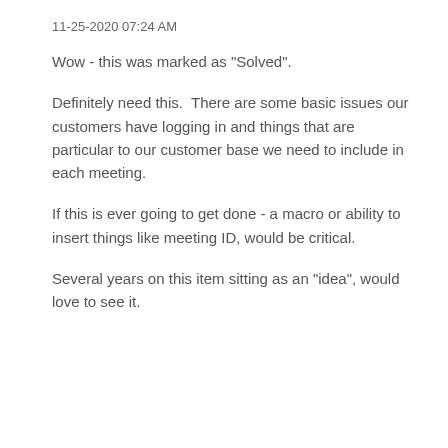11-25-2020 07:24 AM
Wow - this was marked as "Solved".
Definitely need this.  There are some basic issues our customers have logging in and things that are particular to our customer base we need to include in each meeting.
If this is ever going to get done - a macro or ability to insert things like meeting ID, would be critical.
Several years on this item sitting as an "idea", would love to see it.